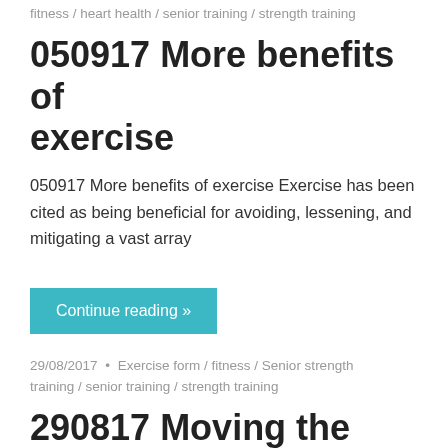fitness / heart health / senior training / strength training
050917 More benefits of exercise
050917 More benefits of exercise Exercise has been cited as being beneficial for avoiding, lessening, and mitigating a vast array
Continue reading »
29/08/2017 • Exercise form / fitness / Senior strength training / senior training / strength training
290817 Moving the curve
290817 Moving the curve Power is developed